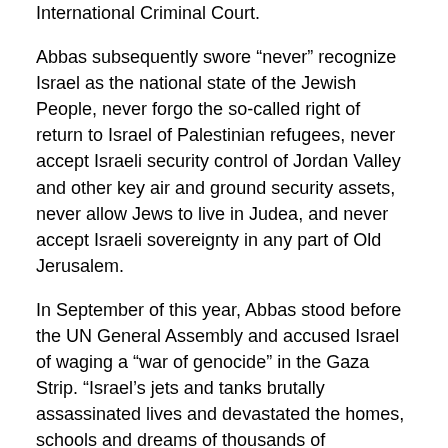International Criminal Court.
Abbas subsequently swore “never” recognize Israel as the national state of the Jewish People, never forgo the so-called right of return to Israel of Palestinian refugees, never accept Israeli security control of Jordan Valley and other key air and ground security assets, never allow Jews to live in Judea, and never accept Israeli sovereignty in any part of Old Jerusalem.
In September of this year, Abbas stood before the UN General Assembly and accused Israel of waging a “war of genocide” in the Gaza Strip. “Israel’s jets and tanks brutally assassinated lives and devastated the homes, schools and dreams of thousands of Palestinian children, women and men and in reality destroying the remaining hopes for peace.”
He asserted that Palestinians faced a future in a “most abhorrent form of apartheid” under Israeli rule. He said that instead of rectifying “the historic injustice” of the 1948 “Nakba” (again, note the reference to 1948, not 1967), Israel had committed “absolute war crimes” and “state terror.” He went on to rant about “racist and armed gangs of settlers who persist with their crimes against the Palestinian people, the land, mosques, churches, properties and olive trees,” and talked